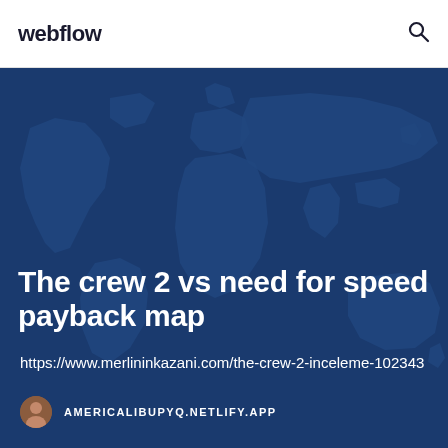webflow
[Figure (map): Dark blue world map background illustration with lighter blue continent silhouettes]
The crew 2 vs need for speed payback map
https://www.merlininkazani.com/the-crew-2-inceleme-102343
AMERICALIBUPYQ.NETLIFY.APP